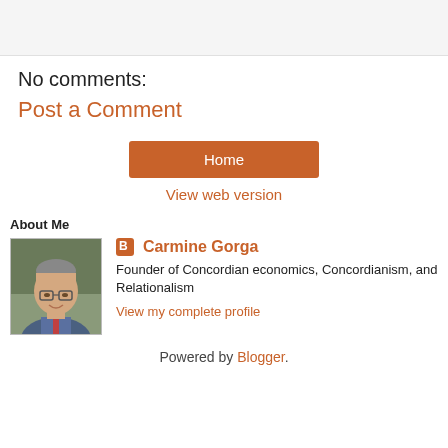[Figure (other): Light gray horizontal bar at the top of the page]
No comments:
Post a Comment
Home
View web version
About Me
[Figure (photo): Profile photo of Carmine Gorga, an older bald man with glasses smiling]
Carmine Gorga
Founder of Concordian economics, Concordianism, and Relationalism
View my complete profile
Powered by Blogger.